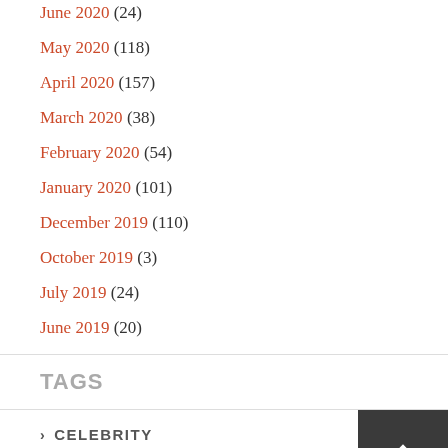June 2020 (24)
May 2020 (118)
April 2020 (157)
March 2020 (38)
February 2020 (54)
January 2020 (101)
December 2019 (110)
October 2019 (3)
July 2019 (24)
June 2019 (20)
TAGS
> CELEBRITY
> FASHION